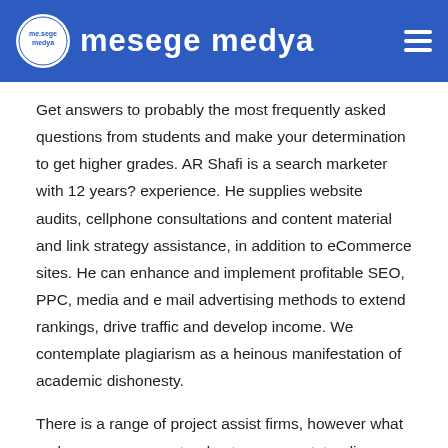mesege medya
Get answers to probably the most frequently asked questions from students and make your determination to get higher grades. AR Shafi is a search marketer with 12 years? experience. He supplies website audits, cellphone consultations and content material and link strategy assistance, in addition to eCommerce sites. He can enhance and implement profitable SEO, PPC, media and e mail advertising methods to extend rankings, drive traffic and develop income. We contemplate plagiarism as a heinous manifestation of academic dishonesty.
There is a range of project assist firms, however what make our company stand out are our outstanding packages. To consider the quality of the content, positive reviews are the...